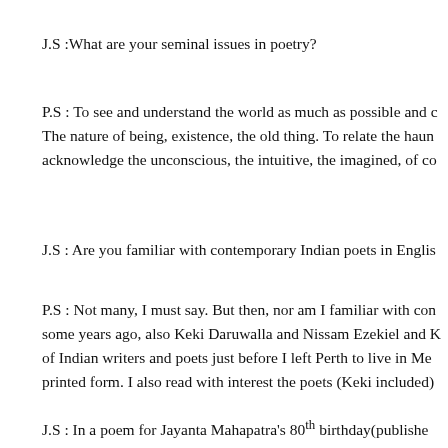J.S :What are your seminal issues in poetry?
P.S : To see and understand the world as much as possible and c The nature of being, existence, the old thing. To relate the haun acknowledge the unconscious, the intuitive, the imagined, of co
J.S : Are you familiar with contemporary Indian poets in Englis
P.S : Not many, I must say. But then, nor am I familiar with co some years ago, also Keki Daruwalla and Nissam Ezekiel and K of Indian writers and poets just before I left Perth to live in Me printed form. I also read with interest the poets (Keki included)
J.S : In a poem for Jayanta Mahapatra's 80th birthday(publishe